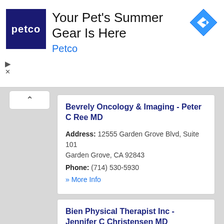[Figure (other): Petco advertisement banner with blue logo, text 'Your Pet's Summer Gear Is Here' and 'Petco', plus a blue diamond-shaped navigation icon]
Bevrely Oncology & Imaging - Peter C Ree MD
Address: 12555 Garden Grove Blvd, Suite 101
Garden Grove, CA 92843
Phone: (714) 530-5930
» More Info
Bien Physical Therapist Inc - Jennifer C Christensen MD
Address: 9240 Garden Grove Blvd, Suite 2